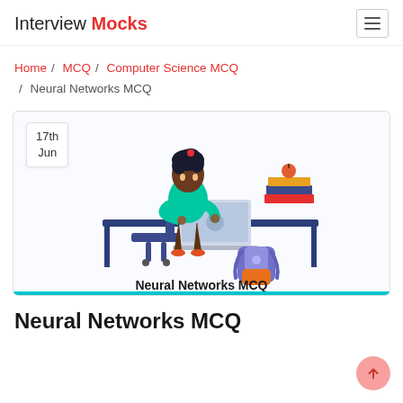Interview Mocks
Home / MCQ / Computer Science MCQ / Neural Networks MCQ
[Figure (illustration): Illustration of a student sitting at a desk with a laptop, books, and a backpack. Text below reads 'Neural Networks MCQ'. A date badge shows '17th Jun'.]
Neural Networks MCQ